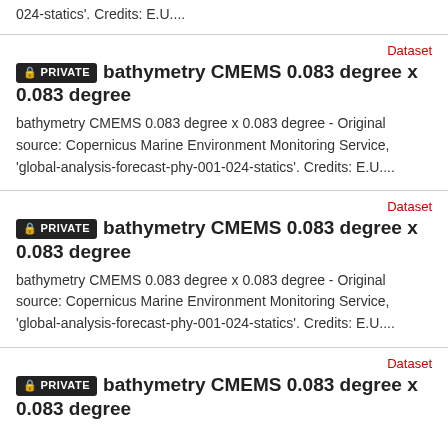024-statics'. Credits: E.U....
Dataset
PRIVATE  bathymetry CMEMS 0.083 degree x 0.083 degree
bathymetry CMEMS 0.083 degree x 0.083 degree - Original source: Copernicus Marine Environment Monitoring Service, 'global-analysis-forecast-phy-001-024-statics'. Credits: E.U....
Dataset
PRIVATE  bathymetry CMEMS 0.083 degree x 0.083 degree
bathymetry CMEMS 0.083 degree x 0.083 degree - Original source: Copernicus Marine Environment Monitoring Service, 'global-analysis-forecast-phy-001-024-statics'. Credits: E.U....
Dataset
PRIVATE  bathymetry CMEMS 0.083 degree x 0.083 degree